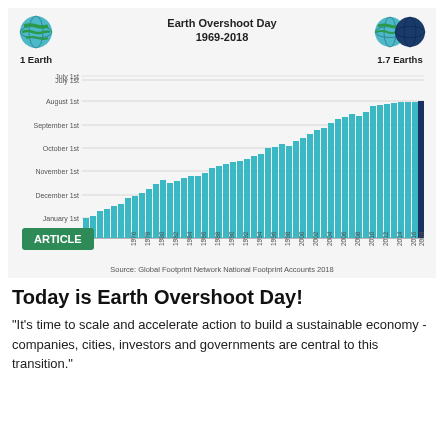[Figure (bar-chart): Bar chart showing Earth Overshoot Day from 1969 to 2018, with bars trending from January/early year dates upward toward August as time progresses, showing earlier overshoot dates over the decades.]
Today is Earth Overshoot Day!
"It's time to scale and accelerate action to build a sustainable economy - companies, cities, investors and governments are central to this transition."